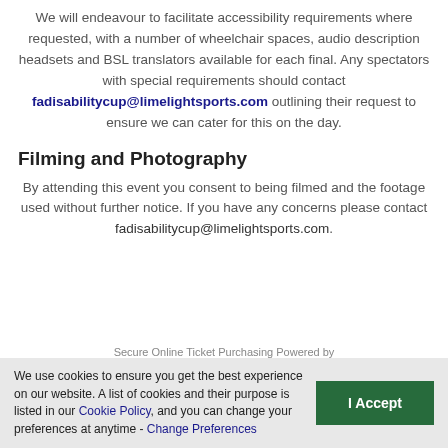We will endeavour to facilitate accessibility requirements where requested, with a number of wheelchair spaces, audio description headsets and BSL translators available for each final. Any spectators with special requirements should contact fadisabilitycup@limelightsports.com outlining their request to ensure we can cater for this on the day.
Filming and Photography
By attending this event you consent to being filmed and the footage used without further notice. If you have any concerns please contact fadisabilitycup@limelightsports.com.
Secure Online Ticket Purchasing Powered by
We use cookies to ensure you get the best experience on our website. A list of cookies and their purpose is listed in our Cookie Policy, and you can change your preferences at anytime - Change Preferences